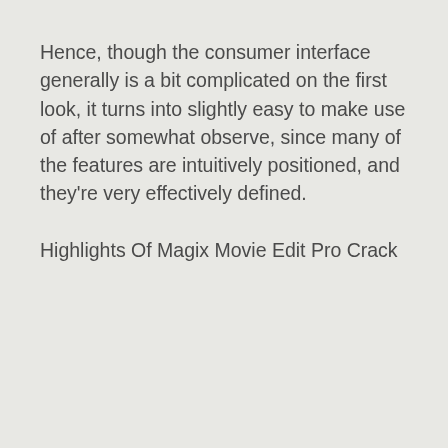Hence, though the consumer interface generally is a bit complicated on the first look, it turns into slightly easy to make use of after somewhat observe, since many of the features are intuitively positioned, and they're very effectively defined.
Highlights Of Magix Movie Edit Pro Crack